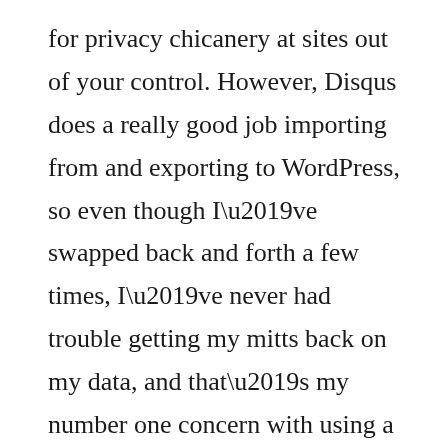for privacy chicanery at sites out of your control. However, Disqus does a really good job importing from and exporting to WordPress, so even though I've swapped back and forth a few times, I've never had trouble getting my mitts back on my data, and that's my number one concern with using a hosted service.
BUT, there's still another important issue. WordPress is open source software, and